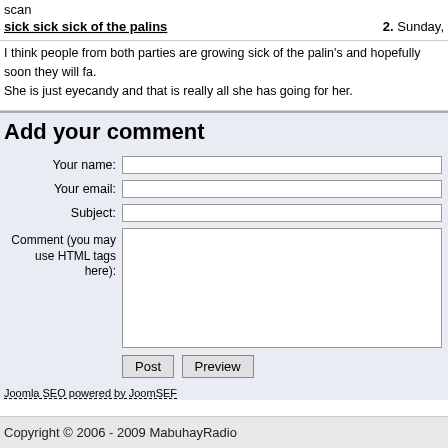scan
sick sick sick of the palins
2. Sunday,
I think people from both parties are growing sick of the palin's and hopefully soon they will fa. She is just eyecandy and that is really all she has going for her.
Add your comment
Your name:
Your email:
Subject:
Comment (you may use HTML tags here):
Post
Preview
Joomla SEO powered by JoomSEF
Copyright © 2006 - 2009 MabuhayRadio